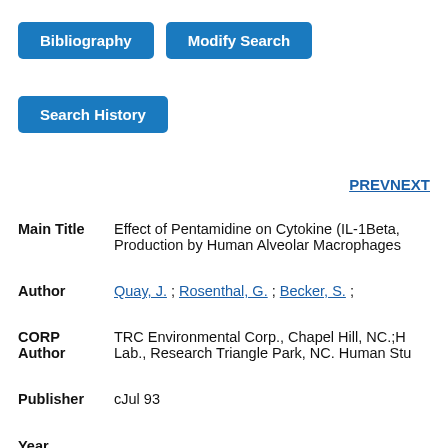[Figure (other): Blue button labeled 'Bibliography']
[Figure (other): Blue button labeled 'Modify Search']
[Figure (other): Blue button labeled 'Search History']
PREV NEXT
Main Title	Effect of Pentamidine on Cytokine (IL-1Beta, Production by Human Alveolar Macrophages
Author	Quay, J. ; Rosenthal, G. ; Becker, S. ;
CORP Author	TRC Environmental Corp., Chapel Hill, NC.;H Lab., Research Triangle Park, NC. Human Stu
Publisher	cJul 93
Year Published	1993